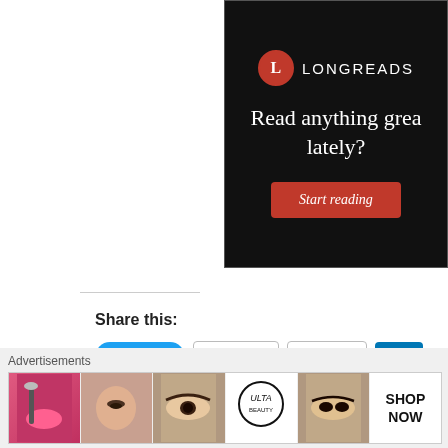[Figure (other): Longreads advertisement banner (black background) with red circle L logo, white text 'Read anything great lately?' and red 'Start reading' button]
Share this:
[Figure (other): Social share buttons: Tweet (blue), Email, Print (outlined), LinkedIn Share (blue, partially visible)]
[Figure (other): Like button with star icon and two social sharing icon grids (teal/green pixelated pattern icons)]
[Figure (other): Advertisements banner showing beauty/makeup product images and Ulta Beauty logo with SHOP NOW text]